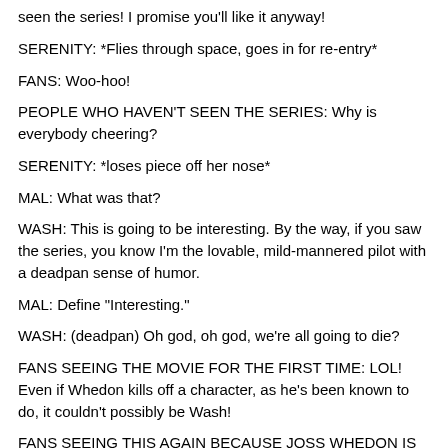seen the series! I promise you'll like it anyway!
SERENITY: *Flies through space, goes in for re-entry*
FANS: Woo-hoo!
PEOPLE WHO HAVEN'T SEEN THE SERIES: Why is everybody cheering?
SERENITY: *loses piece off her nose*
MAL: What was that?
WASH: This is going to be interesting. By the way, if you saw the series, you know I'm the lovable, mild-mannered pilot with a deadpan sense of humor.
MAL: Define "Interesting."
WASH: (deadpan) Oh god, oh god, we're all going to die?
FANS SEEING THE MOVIE FOR THE FIRST TIME: LOL! Even if Whedon kills off a character, as he's been known to do, it couldn't possibly be Wash!
FANS SEEING THIS AGAIN BECAUSE JOSS WHEDON IS OUR MASTER: Whedon, you bastard!